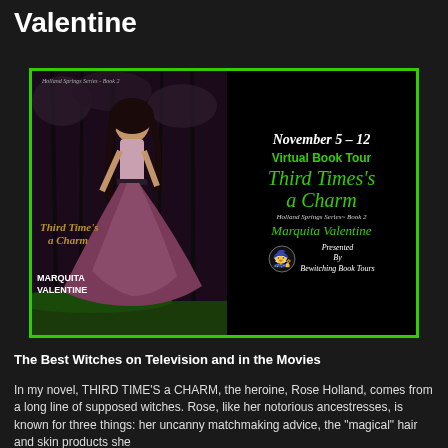Valentine
[Figure (illustration): Virtual Book Tour banner for 'Third Time's a Charm' by Marquita Valentine, Holland Springs Series Book 2. November 5-12. Presented by Bewitching Book Tours. Features book cover with woman in flowing dress.]
The Best Witches on Television and in the Movies
In my novel, THIRD TIME'S a CHARM, the heroine, Rose Holland, comes from a long line of supposed witches. Rose, like her notorious ancestresses, is known for three things: her uncanny matchmaking advice, the "magical" hair and skin products she